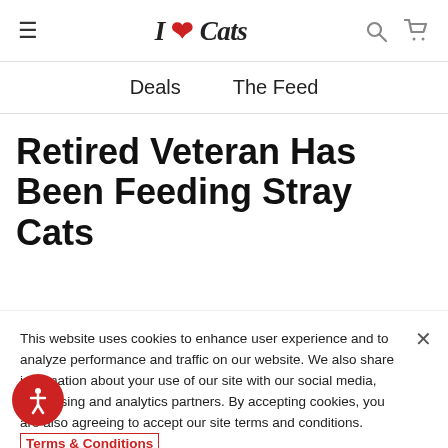I ♥ Cats — navigation header with hamburger menu, logo, search and cart icons
Deals  The Feed
Retired Veteran Has Been Feeding Stray Cats
This website uses cookies to enhance user experience and to analyze performance and traffic on our website. We also share information about your use of our site with our social media, advertising and analytics partners. By accepting cookies, you are also agreeing to accept our site terms and conditions. Terms & Conditions
Cookie Preferences
Accept Cookies